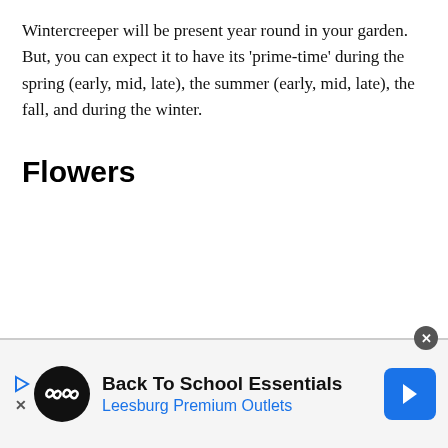Wintercreeper will be present year round in your garden. But, you can expect it to have its 'prime-time' during the spring (early, mid, late), the summer (early, mid, late), the fall, and during the winter.
Flowers
[Figure (other): Advertisement banner for Back To School Essentials at Leesburg Premium Outlets. Contains a black circular logo with infinity-like symbol, navigation arrow icon in blue, and a close button.]